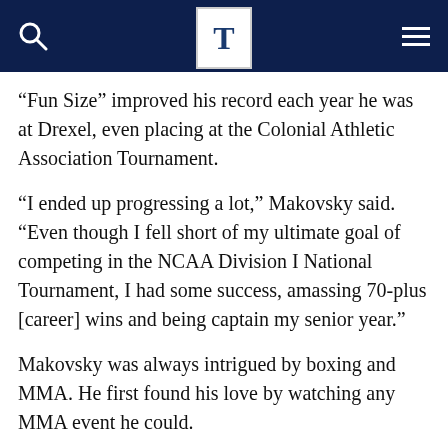T [The Triangle logo]
“Fun Size” improved his record each year he was at Drexel, even placing at the Colonial Athletic Association Tournament.
“I ended up progressing a lot,” Makovsky said. “Even though I fell short of my ultimate goal of competing in the NCAA Division I National Tournament, I had some success, amassing 70-plus [career] wins and being captain my senior year.”
Makovsky was always intrigued by boxing and MMA. He first found his love by watching any MMA event he could.
“I discovered MMA by renting videos of early [Ultimate Fighting Championship]…